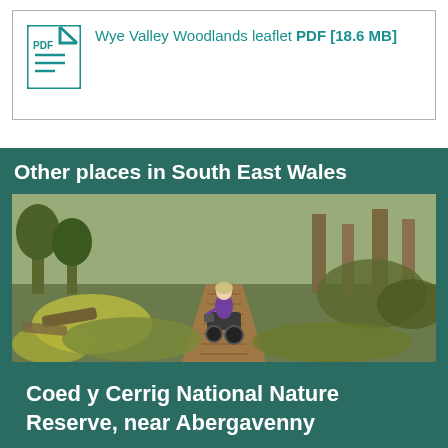[Figure (other): PDF file icon (teal/cyan colored document icon with fold corner) next to a link text reading 'Wye Valley Woodlands leaflet PDF [18.6 MB]']
Other places in South East Wales
[Figure (photo): Photo of a person on a mobility scooter riding along a wooden boardwalk path through a woodland nature reserve. The surroundings show green foliage, yellow wildflowers, and bare trees. The scene appears to be spring.]
Coed y Cerrig National Nature Reserve, near Abergavenny